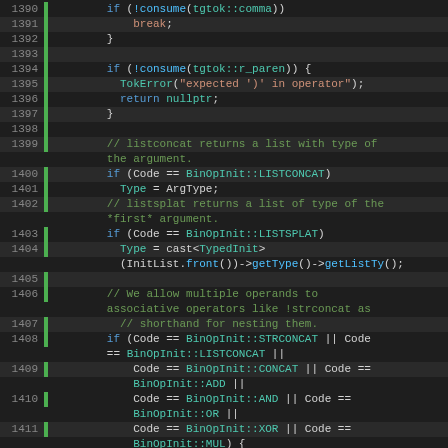[Figure (screenshot): Source code editor showing C++ code lines 1390-1415 with syntax highlighting on dark background. Lines show parser logic for binary operator inits including LISTCONCAT, LISTSPLAT, STRCONCAT, CONCAT, ADD, AND, OR, XOR, MUL operators.]